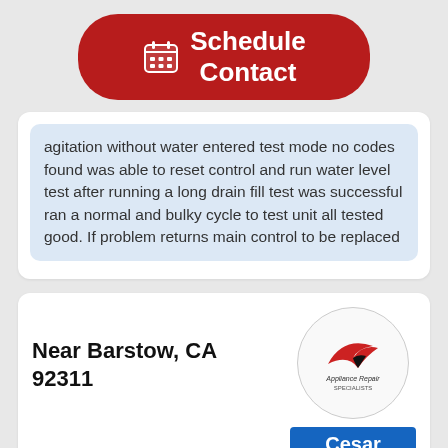[Figure (infographic): Red rounded button with calendar icon and text 'Schedule Contact']
agitation without water entered test mode no codes found was able to reset control and run water level test after running a long drain fill test was successful ran a normal and bulky cycle to test unit all tested good. If problem returns main control to be replaced
Near Barstow, CA 92311
[Figure (logo): Appliance Repair Specialists logo in a circle]
Cesar